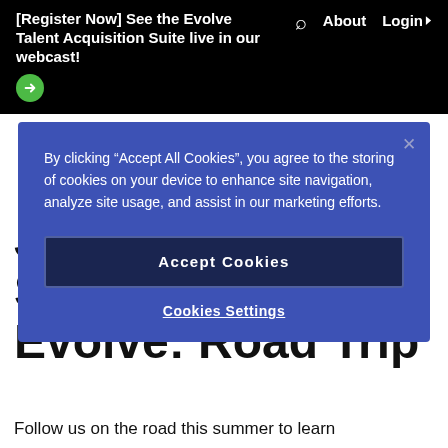[Register Now] See the Evolve Talent Acquisition Suite live in our webcast!
By clicking “Accept All Cookies”, you agree to the storing of cookies on your device to enhance site navigation, analyze site usage, and assist in our marketing efforts.
Accept Cookies
Cookies Settings
Join us for Summer to Evolve: Road Trip
Follow us on the road this summer to learn